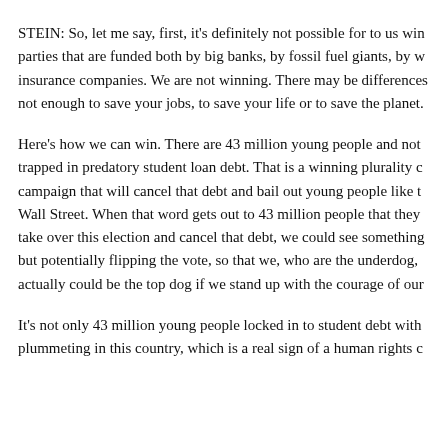STEIN: So, let me say, first, it's definitely not possible for to us win parties that are funded both by big banks, by fossil fuel giants, by w insurance companies. We are not winning. There may be differences not enough to save your jobs, to save your life or to save the planet.
Here's how we can win. There are 43 million young people and not trapped in predatory student loan debt. That is a winning plurality c campaign that will cancel that debt and bail out young people like t Wall Street. When that word gets out to 43 million people that they take over this election and cancel that debt, we could see something but potentially flipping the vote, so that we, who are the underdog, actually could be the top dog if we stand up with the courage of our
It's not only 43 million young people locked in to student debt with plummeting in this country, which is a real sign of a human rights c